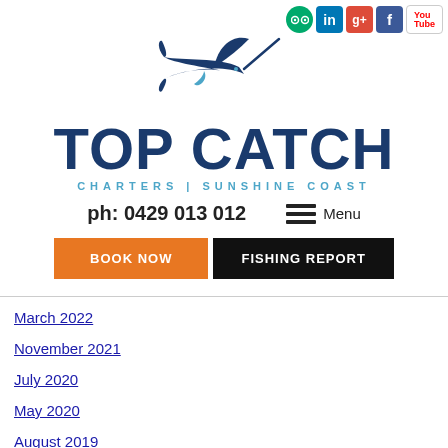[Figure (logo): Top Catch Charters Sunshine Coast logo with marlin fish and text]
ph: 0429 013 012
Menu
BOOK NOW
FISHING REPORT
March 2022
November 2021
July 2020
May 2020
August 2019
May 2019